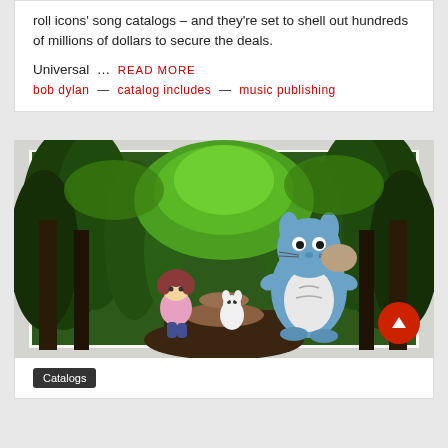roll icons' song catalogs – and they're set to shell out hundreds of millions of dollars to secure the deals.
Universal … READ MORE
bob dylan — catalog includes — music publishing
[Figure (photo): Open book showing a Studio Ghibli My Neighbor Totoro illustrated spread: a forest tunnel scene with Totoro character and a child, with a small white spirit. A red scroll-to-top button is visible in the lower right corner.]
Catalogs